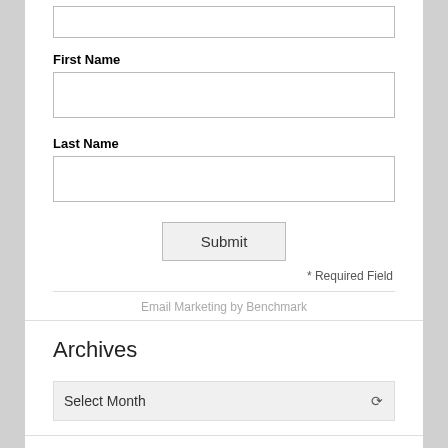[Figure (screenshot): Partial web form showing First Name and Last Name text input fields, a Submit button, a Required Field note, and Email Marketing by Benchmark footer text, followed by Archives section with Select Month dropdown and Categories section header]
First Name
Last Name
Submit
* Required Field
Email Marketing by Benchmark
Archives
Select Month
Categories